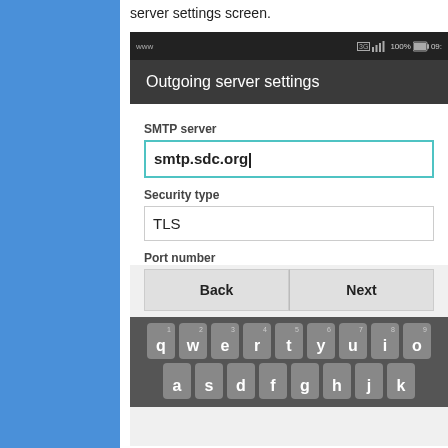server settings screen.
[Figure (screenshot): Android mobile phone screenshot showing Outgoing server settings screen with SMTP server field containing 'smtp.sdc.org', Security type field showing 'TLS', Port number label, Back and Next buttons, and on-screen QWERTY keyboard showing top two rows (q w e r t y u i o and a s d f g h j k).]